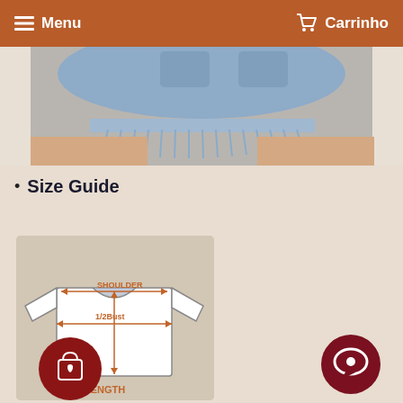Menu   Carrinho
[Figure (photo): Close-up photo of woman wearing denim cutoff shorts, cropped view showing waist and thighs]
Size Guide
[Figure (illustration): T-shirt size guide diagram showing SHOULDER, 1/2Bust, and LENGTH measurements with orange arrows on a white t-shirt illustration]